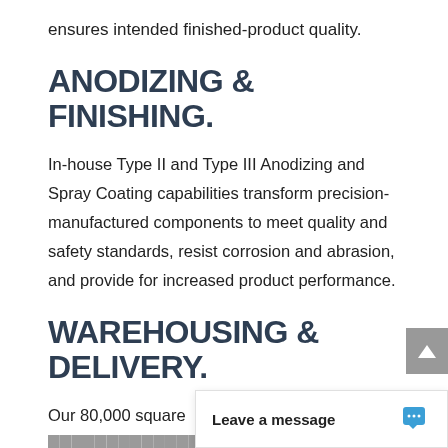ensures intended finished-product quality.
ANODIZING & FINISHING.
In-house Type II and Type III Anodizing and Spray Coating capabilities transform precision-manufactured components to meet quality and safety standards, resist corrosion and abrasion, and provide for increased product performance.
WAREHOUSING & DELIVERY.
Our 80,000 square [facility and its] fully integrated ER[P...]